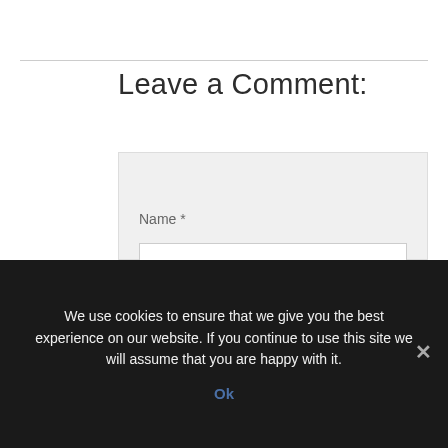Leave a Comment:
[Figure (screenshot): Comment form with Name and E-Mail fields on a light gray background]
We use cookies to ensure that we give you the best experience on our website. If you continue to use this site we will assume that you are happy with it.
Ok